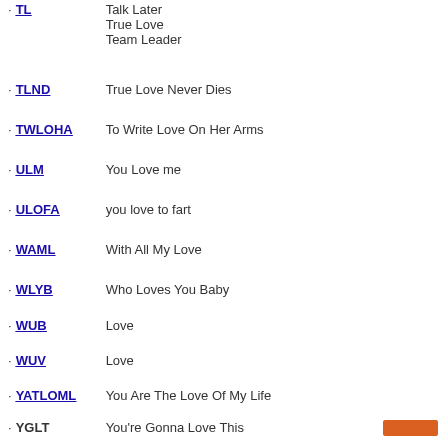TL — Talk Later / True Love / Team Leader
TLND — True Love Never Dies
TWLOHA — To Write Love On Her Arms
ULM — You Love me
ULOFA — you love to fart
WAML — With All My Love
WLYB — Who Loves You Baby
WUB — Love
WUV — Love
YATLOML — You Are The Love Of My Life
YGLT — You're Gonna Love This